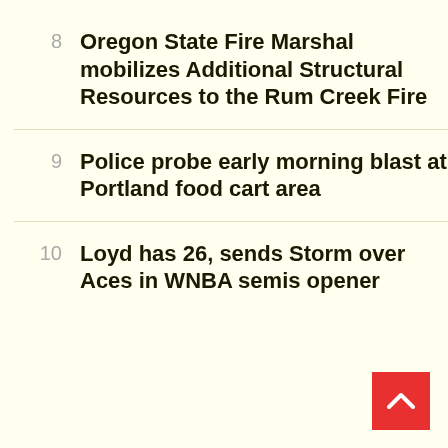8 Oregon State Fire Marshal mobilizes Additional Structural Resources to the Rum Creek Fire
9 Police probe early morning blast at Portland food cart area
10 Loyd has 26, sends Storm over Aces in WNBA semis opener
Copyright Gorge Country Media 2022